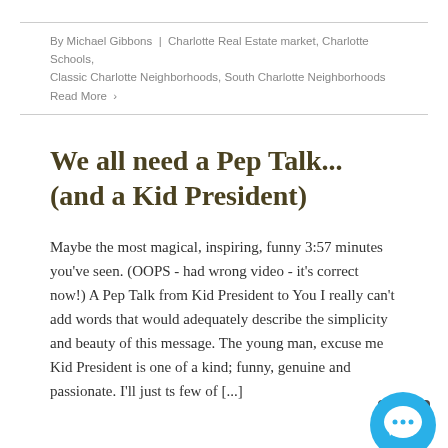By Michael Gibbons | Charlotte Real Estate market, Charlotte Schools, Classic Charlotte Neighborhoods, South Charlotte Neighborhoods
Read More ›
We all need a Pep Talk... (and a Kid President)
Maybe the most magical, inspiring, funny 3:57 minutes you've seen. (OOPS - had wrong video - it's correct now!) A Pep Talk from Kid President to You I really can't add words that would adequately describe the simplicity and beauty of this message. The young man, excuse me Kid President is one of a kind; funny, genuine and passionate. I'll just ts few of [...]